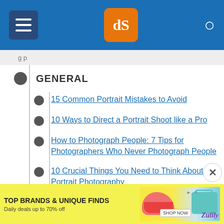[Figure (screenshot): Website header bar with hamburger menu icon, dPS orange logo, and search icon on blue background]
GENERAL
15 Common Portrait Mistakes to Avoid
10 Ways to Direct a Portrait Shoot like a Pro
How to Photograph People: 7 Tips for Photographers Who Never Photograph People
10 Crucial Things You Need to Think About for Portrait Photography
5 Portrait Photography Rules You Should Probably Ignore
[Figure (screenshot): Advertisement banner: TOP BRANDS & UNIQUE FINDS, Daily deals up to 70% off, Zulily, with shoe and bag images and SHOP NOW button]